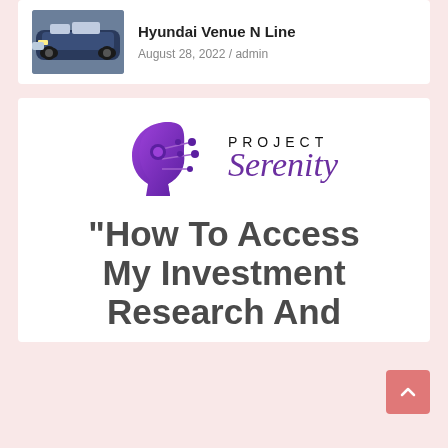[Figure (photo): Thumbnail photo of a dark blue Hyundai Venue N Line SUV]
Hyundai Venue N Line
August 28, 2022 / admin
[Figure (logo): Project Serenity logo — purple head silhouette with circuit board motif and stylized text]
"How To Access My Investment Research And